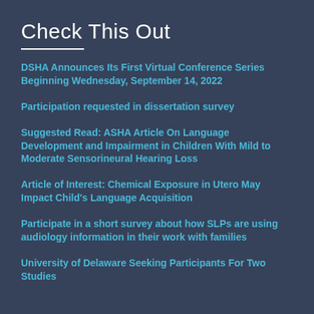Check This Out
DSHA Announces Its First Virtual Conference Series Beginning Wednesday, September 14, 2022
Participation requested in dissertation survey
Suggested Read: ASHA Article On Language Development and Impairment in Children With Mild to Moderate Sensorineural Hearing Loss
Article of Interest: Chemical Exposure in Utero May Impact Child's Language Acquisition
Participate in a short survey about how SLPs are using audiology information in their work with families
University of Delaware Seeking Participants For Two Studies